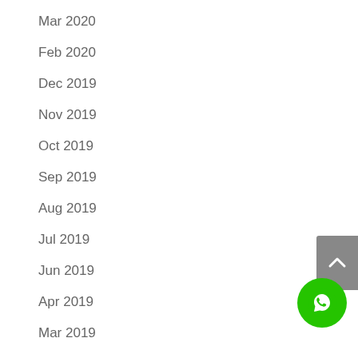Mar 2020
Feb 2020
Dec 2019
Nov 2019
Oct 2019
Sep 2019
Aug 2019
Jul 2019
Jun 2019
Apr 2019
Mar 2019
Feb 2019
Jun 2018
May 2018
[Figure (other): Back to top button (grey rounded rectangle with upward chevron arrow)]
[Figure (other): WhatsApp contact button (green circle with WhatsApp phone/chat icon)]